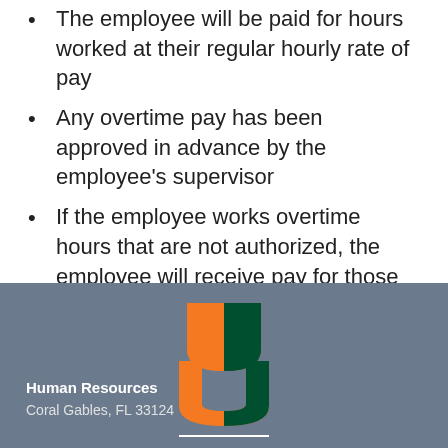The employee will be paid for hours worked at their regular hourly rate of pay
Any overtime pay has been approved in advance by the employee's supervisor
If the employee works overtime hours that are not authorized, the employee will receive pay for those hours
If unauthorized overtime continues, the employee may be subject to disciplinary action
[Figure (logo): University of Miami logo — stylized U in orange and green with MIAMI text below]
Human Resources
Coral Gables, FL 33124